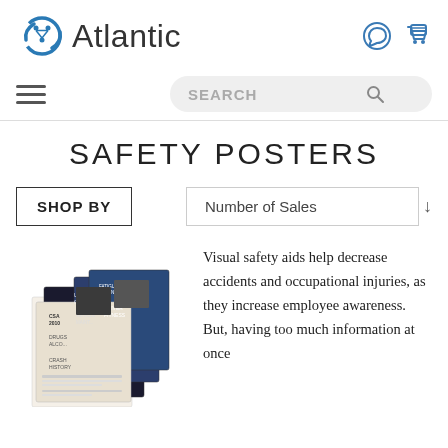[Figure (logo): Atlantic company logo with circular arrow icon and text 'Atlantic']
[Figure (screenshot): WhatsApp and shopping cart icons in header]
[Figure (screenshot): Hamburger menu icon and search bar with magnifying glass]
SAFETY POSTERS
SHOP BY
Number of Sales
[Figure (photo): Stack of safety poster documents including CSA 2010, Unsafe Conditions, Fatigued Driving, Drugs Alcohol, Vehicle Maintenance, Driver Fitness, Crash History, and other safety topics]
Visual safety aids help decrease accidents and occupational injuries, as they increase employee awareness. But, having too much information at once ...